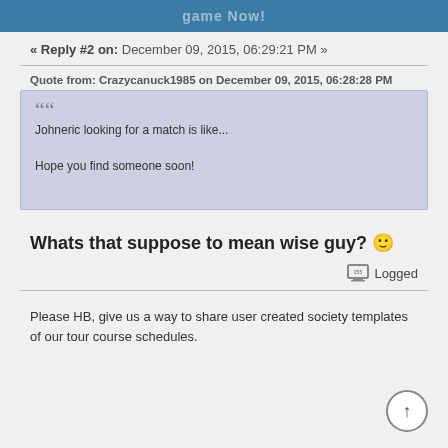game Now!
« Reply #2 on: December 09, 2015, 06:29:21 PM »
Quote from: Crazycanuck1985 on December 09, 2015, 06:28:28 PM
Johneric looking for a match is like...

Hope you find someone soon!
Whats that suppose to mean wise guy? 🙂
Logged
Please HB,  give us a way to share user created society templates of our tour course schedules.